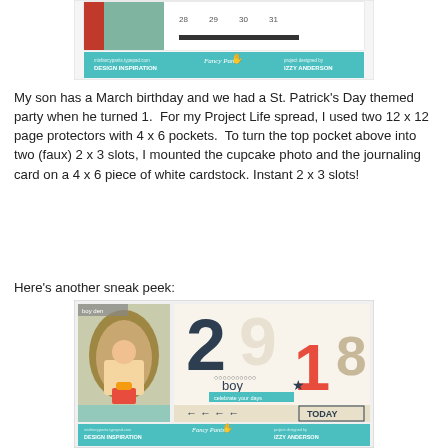[Figure (photo): Top cropped photo showing a calendar/scrapbook spread with a teal footer bar reading 'DESIGN INSPIRATION' and 'IZZY ANDERSON' with a Fancy Pants logo]
My son has a March birthday and we had a St. Patrick's Day themed party when he turned 1.  For my Project Life spread, I used two 12 x 12 page protectors with 4 x 6 pockets.  To turn the top pocket above into two (faux) 2 x 3 slots, I mounted the cupcake photo and the journaling card on a 4 x 6 piece of white cardstock. Instant 2 x 3 slots!
Here's another sneak peek:
[Figure (photo): Bottom photo showing a Project Life scrapbook spread with numbers (2, 9, 1, 8), a baby photo, 'boy', arrows, and 'TODAY' label with teal footer bar reading 'DESIGN INSPIRATION' and 'IZZY ANDERSON' with a Fancy Pants logo]